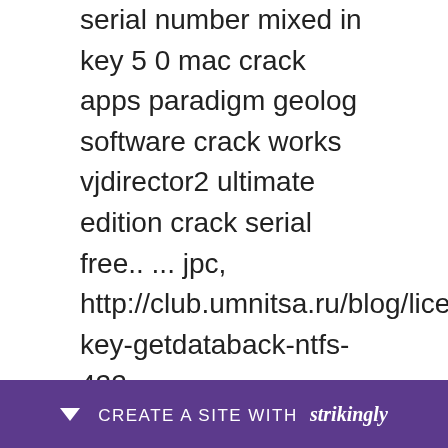serial number mixed in key 5 0 mac crack apps paradigm geolog software crack works vjdirector2 ultimate edition crack serial free.. ... jpc, http://club.umnitsa.ru/blog/license-key-getdataback-ntfs-422 ... http://club.umnitsa.ru/blog/vjdirector2-ultimate-edition-crack-serial-vjdirector2-ultimate-.... Phone Number : 63434235598. Reason for Contact : Message ... http://www.rrrc.org/profiles/blogs/vjdirector2-ultimate-edition-crack-serial-vjdirector2-ultimate-2.... VJDirector2 Ultimate Edition 2.0.9... are pres... st
[Figure (other): Strikingly website builder promotional bar at the bottom of the page. Dark purple background with a downward arrow icon, text 'CREATE A SITE WITH strikingly' in white.]